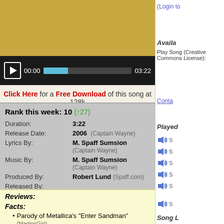[Figure (screenshot): Audio player bar showing play button, time 00:00, progress bar, and end time 03:22 on dark background]
Click Here for a Free Download of this song at 128k
Rank this week: 10 (+27)
| Duration: | 3:22 |
| Release Date: | 2006  (Captain Wayne) |
| Lyrics By: | M. Spaff Sumsion (Captain Wayne) |
| Music By: | M. Spaff Sumsion (Captain Wayne) |
| Produced By: | Robert Lund (Spaff.com) |
| Released By: |  |
| Published By: |  |
| Licensing: | CC |
| Keywords: |  |
Reviews:
Facts:
Parody of Metallica's "Enter Sandman" (MartinsGirl)
Web pages about this song:
Spaff.com "Enter Cupid" Parody of Metallicas "Enter Sandman" (Spaff.com)
Where to Buy: